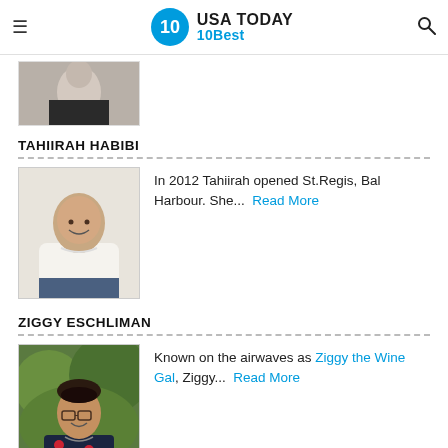USA TODAY 10Best
[Figure (photo): Partial photo of a person (cropped, only head/shoulders visible at top of page)]
TAHIIRAH HABIBI
In 2012 Tahiirah opened St.Regis, Bal Harbour. She... Read More
[Figure (photo): Photo of Tahiirah Habibi, a bald woman smiling, wearing a white knit sweater]
ZIGGY ESCHLIMAN
Known on the airwaves as Ziggy the Wine Gal, Ziggy... Read More
[Figure (photo): Photo of Ziggy Eschliman, a woman with dark hair wearing glasses and a floral top, outdoors]